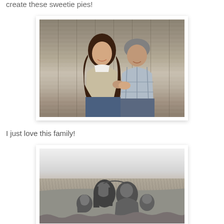create these sweetie pies!
[Figure (photo): Couple sitting in front of rustic barn wood fence. Woman with long brown hair wearing white top and beige cardigan, man with grey hair wearing plaid shirt. Outdoor color photo.]
I just love this family!
[Figure (photo): Black and white outdoor photo of a family of four sitting together in a grassy field. Parents kissing, with two children between them. Wide open field landscape.]